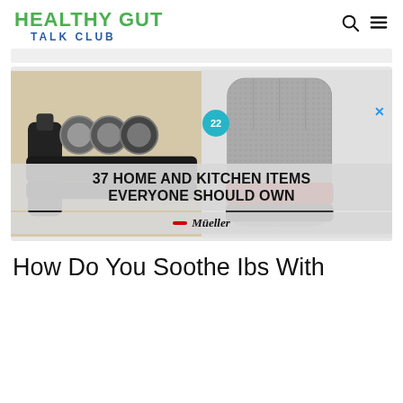HEALTHY GUT TALK CLUB
[Figure (screenshot): Advertisement banner: '37 HOME AND KITCHEN ITEMS EVERYONE SHOULD OWN' with a 22 badge, Mueller brand logo, showing a knife sharpener and cut-resistant glove]
How Do You Soothe Ibs With